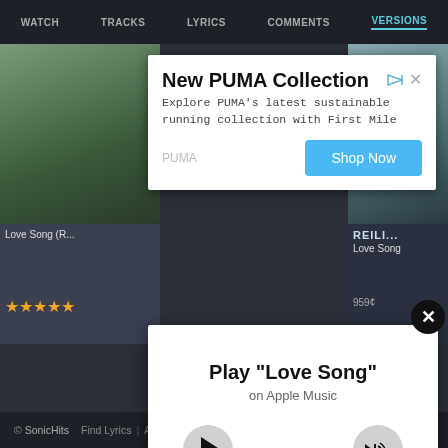WATCH  TRACKS  LYRICS  COMMENTS  VERSIONS
[Figure (screenshot): Advertisement for New PUMA Collection with Shop Now button]
[Figure (screenshot): Apple Music player overlay with Play 'Love Song' on Apple Music, play button and volume button]
Love Song (R...
Love Song
★★★★★
959¢
© SonicHits  Find Lyrics | About | Privacy